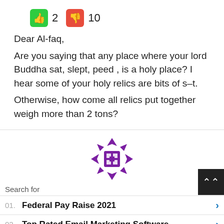[Figure (infographic): Thumbs up button (green) with count 2, thumbs down button (red) with count 10]
Dear Al-faq,
Are you saying that any place where your lord Buddha sat, slept, peed , is a holy place? I hear some of your holy relics are bits of s–t.
Otherwise, how come all relics put together weigh more than 2 tons?
[Figure (logo): Purple decorative square logo icon]
Search for
01. Federal Pay Raise 2021
02. Top Rated Email Marketing Software
Yahoo! Search | Sponsored